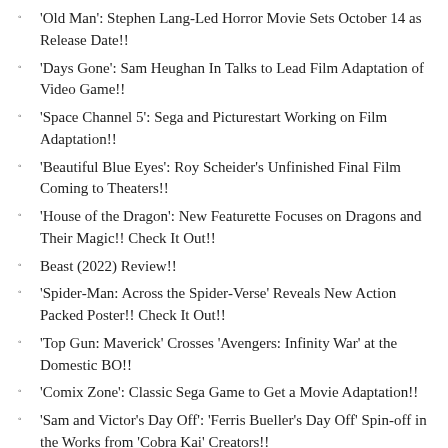'Old Man': Stephen Lang-Led Horror Movie Sets October 14 as Release Date!!
'Days Gone': Sam Heughan In Talks to Lead Film Adaptation of Video Game!!
'Space Channel 5': Sega and Picturestart Working on Film Adaptation!!
'Beautiful Blue Eyes': Roy Scheider's Unfinished Final Film Coming to Theaters!!
'House of the Dragon': New Featurette Focuses on Dragons and Their Magic!! Check It Out!!
Beast (2022) Review!!
'Spider-Man: Across the Spider-Verse' Reveals New Action Packed Poster!! Check It Out!!
'Top Gun: Maverick' Crosses 'Avengers: Infinity War' at the Domestic BO!!
'Comix Zone': Classic Sega Game to Get a Movie Adaptation!!
'Sam and Victor's Day Off': 'Ferris Bueller's Day Off' Spin-off in the Works from 'Cobra Kai' Creators!!